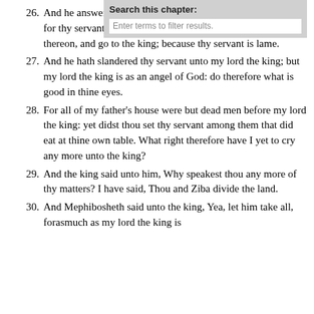26. And he answered, My lord, O king, my servant deceived me: for thy servant said, I will saddle me an ass, that I may ride thereon, and go to the king; because thy servant is lame.
27. And he hath slandered thy servant unto my lord the king; but my lord the king is as an angel of God: do therefore what is good in thine eyes.
28. For all of my father's house were but dead men before my lord the king: yet didst thou set thy servant among them that did eat at thine own table. What right therefore have I yet to cry any more unto the king?
29. And the king said unto him, Why speakest thou any more of thy matters? I have said, Thou and Ziba divide the land.
30. And Mephibosheth said unto the king, Yea, let him take all, forasmuch as my lord the king is